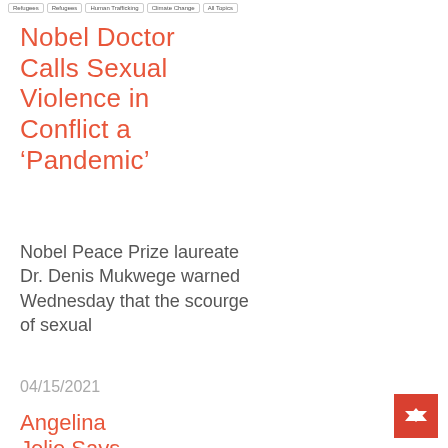[Navigation buttons row]
Nobel Doctor Calls Sexual Violence in Conflict a ‘Pandemic’
Nobel Peace Prize laureate Dr. Denis Mukwege warned Wednesday that the scourge of sexual
04/15/2021
Angelina Jolie Says